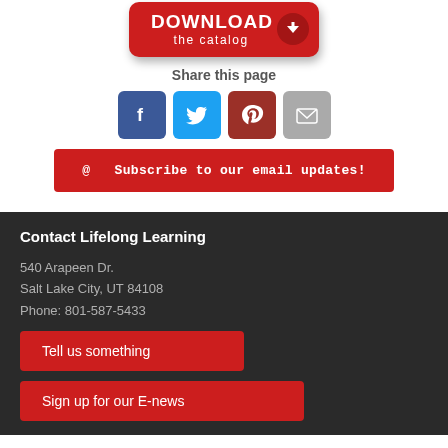[Figure (illustration): Red rounded button with 'DOWNLOAD the catalog' text and white downward arrow icon in a dark red circle]
Share this page
[Figure (illustration): Four social media share icons: Facebook (blue), Twitter (light blue), Pinterest (dark red), Email (gray)]
@ Subscribe to our email updates!
Contact Lifelong Learning
540 Arapeen Dr.
Salt Lake City, UT 84108
Phone: 801-587-5433
Tell us something
Sign up for our E-news